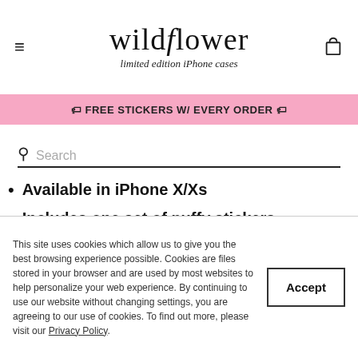wildflower limited edition iPhone cases
🏷 FREE STICKERS W/ EVERY ORDER 🏷
Search
Available in iPhone X/Xs
Includes one set of puffy stickers
One-of-a-kind, limited edition phone case
Durable protective outer sandblasted polyurethane black rubber bumper
This site uses cookies which allow us to give you the best browsing experience possible. Cookies are files stored in your browser and are used by most websites to help personalize your web experience. By continuing to use our website without changing settings, you are agreeing to our use of cookies. To find out more, please visit our Privacy Policy.